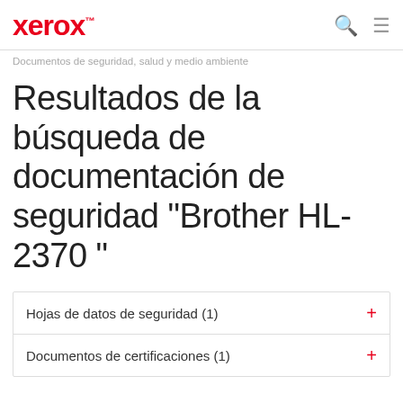xerox™
Documentos de seguridad, salud y medio ambiente
Resultados de la búsqueda de documentación de seguridad "Brother HL-2370 "
Hojas de datos de seguridad (1)
Documentos de certificaciones (1)